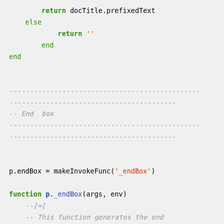return docTitle.prefixedText
        else
            return ''
        end
    end

    -----------------------------------------------
    -----------------------------------------
    -- End box
    -----------------------------------------------
    -----------------------------------------

    p.endBox = makeInvokeFunc('_endBox')

    function p._endBox(args, env)
        --[=[
        -- This function generates the end